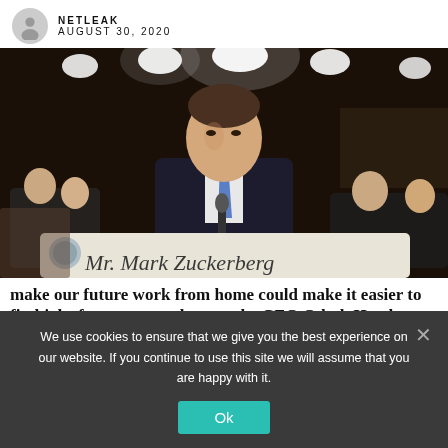NETLEAK
AUGUST 30, 2020
[Figure (photo): Man in dark suit with blue tie sitting at a desk with a nameplate reading 'Mr. Mark Zuckerberg', testifying before a Senate committee with bright lights and audience in background.]
make our future work from home could make it easier to find jobs for some people, says the CEO Odesk Hayden
We use cookies to ensure that we give you the best experience on our website. If you continue to use this site we will assume that you are happy with it.